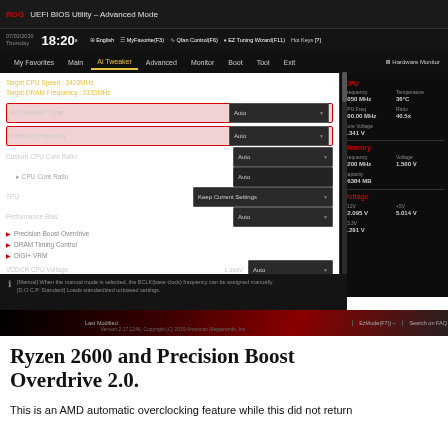[Figure (screenshot): ASUS ROG UEFI BIOS Utility Advanced Mode screenshot showing AI Tweaker settings. Top bar shows time 18:20, date 07/02/2020 Thursday. Navigation menu includes My Favorites, Main, Ai Tweaker (active), Advanced, Monitor, Boot, Tool, Exit. Main settings area shows: Target CPU Speed 3420MHz, Target DRAM Frequency 2133MHz, Ai Overdrive Tuner (Auto, highlighted in red), Memory Frequency (Auto, highlighted in red), Custom CPU Core Ratio (Auto), CPU Core Ratio (Auto), TPU (Keep Current Settings), Performance Bias (Auto), Precision Boost Overdrive, DRAM Timing Control, DIGI+ VRM, VDDCR CPU Voltage (1.368V, Auto). Right panel shows Hardware Monitor with CPU: Frequency 4050 MHz, Temperature 36°C, APU Freq 100.00 MHz, Ratio 40.5x, Core Voltage 1.341V; Memory: Frequency 3200 MHz, Voltage 1.500V, Capacity 16384 MB; Voltage: +12V 12.095V, +5V 5.014V, +3.3V 3.291V. Bottom info bar shows manual mode description. Version 2.17.1246, Copyright (C) 2019 American Megatrends, Inc.]
Ryzen 2600 and Precision Boost Overdrive 2.0.
This is an AMD automatic overclocking feature while this did not return